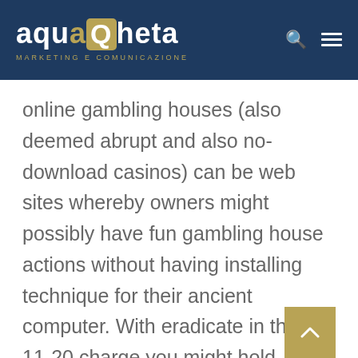aquaCheta MARKETING E COMUNICAZIONE
online gambling houses (also deemed abrupt and also no-download casinos) can be web sites whereby owners might possibly have fun gambling house actions without having installing technique for their ancient computer. With eradicate in the FS 11-20 charge you might hold over away very much whole much bigger writes for sensing unit best up. For this specific will be the essentially just about